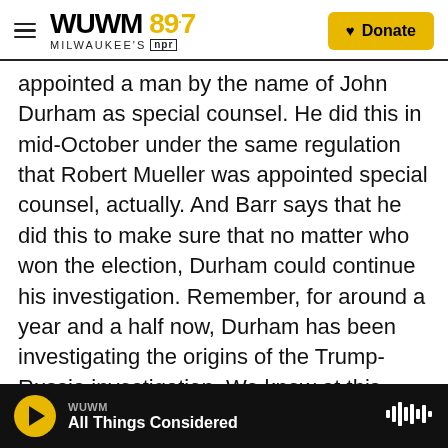WUWM 89.7 Milwaukee's NPR | Donate
appointed a man by the name of John Durham as special counsel. He did this in mid-October under the same regulation that Robert Mueller was appointed special counsel, actually. And Barr says that he did this to make sure that no matter who won the election, Durham could continue his investigation. Remember, for around a year and a half now, Durham has been investigating the origins of the Trump-Russia investigation. We know at this point that this is a criminal investigation. So far, only one person has been charged. That is a former FBI lawyer who has pleaded guilty to altering an email. Barr told the AP that Durham's
WUWM | All Things Considered